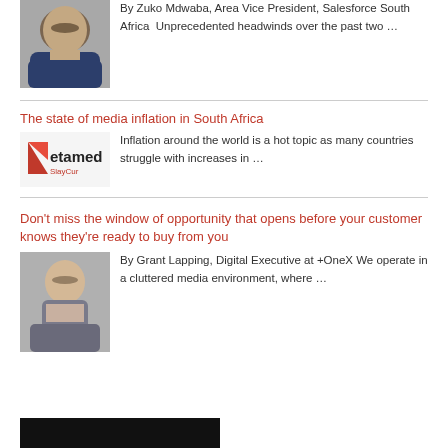[Figure (photo): Headshot of Zuko Mdwaba, man in suit]
By Zuko Mdwaba, Area Vice President, Salesforce South Africa Unprecedented headwinds over the past two …
The state of media inflation in South Africa
[Figure (logo): Aetamed SlayCur logo with red triangle icon]
Inflation around the world is a hot topic as many countries struggle with increases in …
Don't miss the window of opportunity that opens before your customer knows they're ready to buy from you
[Figure (photo): Headshot of Grant Lapping, man in blazer seated]
By Grant Lapping, Digital Executive at +OneX We operate in a cluttered media environment, where …